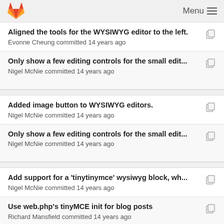Menu
Aligned the tools for the WYSIWYG editor to the left.
Evonne Cheung committed 14 years ago
Only show a few editing controls for the small edit...
Nigel McNie committed 14 years ago
Added image button to WYSIWYG editors.
Nigel McNie committed 14 years ago
Only show a few editing controls for the small edit...
Nigel McNie committed 14 years ago
Add support for a 'tinytinymce' wysiwyg block, wh...
Nigel McNie committed 14 years ago
Use web.php's tinyMCE init for blog posts
Richard Mansfield committed 14 years ago
Add support for a 'tinytinymce' wysiwyg block, wh...